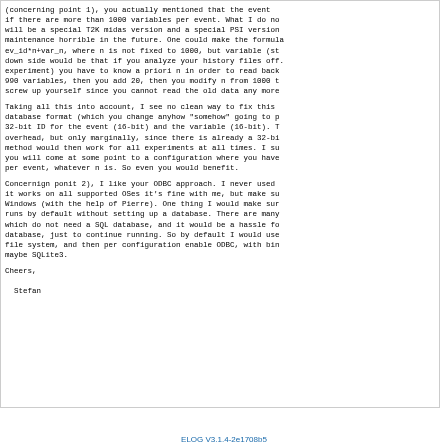(concerning point 1), you actually mentioned that the event if there are more than 1000 variables per event. What I do no will be a special T2K midas version and a special PSI version maintenance horrible in the future. One could make the formula ev_id*n+var_n, where n is not fixed to 1000, but variable (st down side would be that if you analyze your history files off experiment) you have to know a priori n in order to read back 990 variables, then you add 20, then you modify n from 1000 t screw up yourself since you cannot read the old data any more
Taking all this into account, I see no clean way to fix this database format (which you change anyhow "somehow" going to p 32-bit ID for the event (16-bit) and the variable (16-bit). T overhead, but only marginally, since there is already a 32-bi method would then work for all experiments at all times. I su you will come at some point to a configuration where you have per event, whatever n is. So even you would benefit.
Concernign ponit 2), I like your ODBC approach. I never used it works on all supported OSes it's fine with me, but make su Windows (with the help of Pierre). One thing I would make sur runs by default without setting up a database. There are many which do not need a SQL database, and it would be a hassle fo database, just to continue running. So by default I would use file system, and then per configuration enable ODBC, with bin maybe SQLite3.
Cheers,

  Stefan
ELOG V3.1.4-2e1708b5